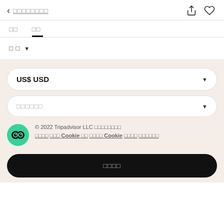< □□□□□□□□
□□  □□
□ □ ∨
US$ USD
□□□□□□
© 2022 Tripadvisor LLC □□□□□□□□
□□□□  □□□ Cookie □□  □□□□ Cookie  □□□□  □□□□□□
□□□□